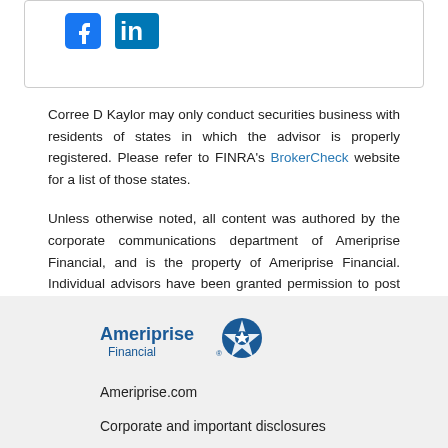[Figure (logo): Facebook and LinkedIn social media icons in blue]
Corree D Kaylor may only conduct securities business with residents of states in which the advisor is properly registered. Please refer to FINRA's BrokerCheck website for a list of those states.
Unless otherwise noted, all content was authored by the corporate communications department of Ameriprise Financial, and is the property of Ameriprise Financial. Individual advisors have been granted permission to post content on this site, but are not the More…
[Figure (logo): Ameriprise Financial logo with blue compass star icon]
Ameriprise.com
Corporate and important disclosures